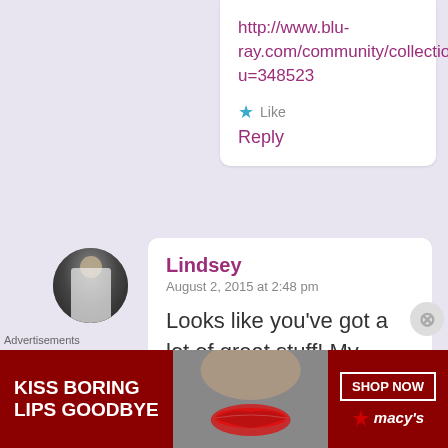http://www.blu-ray.com/community/collection u=348523
★ Like
Reply
[Figure (photo): Circular avatar photo of a person, black and white]
Lindsey
August 2, 2015 at 2:48 pm
Looks like you've got a lot of great stuff! My collection
Advertisements
[Figure (photo): Advertisement banner: KISS BORING LIPS GOODBYE with woman's face showing red lips, SHOP NOW button, macys star logo]